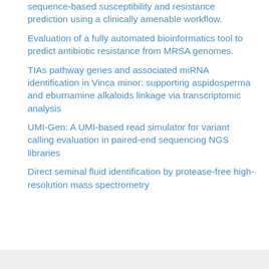sequence-based susceptibility and resistance prediction using a clinically amenable workflow.
Evaluation of a fully automated bioinformatics tool to predict antibiotic resistance from MRSA genomes.
TIAs pathway genes and associated miRNA identification in Vinca minor: supporting aspidosperma and eburnamine alkaloids linkage via transcriptomic analysis
UMI-Gen: A UMI-based read simulator for variant calling evaluation in paired-end sequencing NGS libraries
Direct seminal fluid identification by protease-free high-resolution mass spectrometry